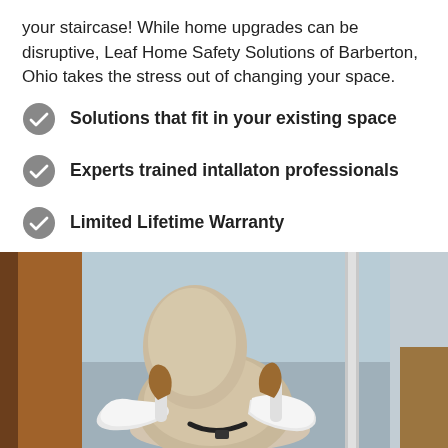your staircase! While home upgrades can be disruptive, Leaf Home Safety Solutions of Barberton, Ohio takes the stress out of changing your space.
Solutions that fit in your existing space
Experts trained intallaton professionals
Limited Lifetime Warranty
Financing available
[Figure (photo): A stairlift chair mounted on a staircase rail, showing a beige padded seat and white armrests, with wooden banister on the left and light blue wall in background.]